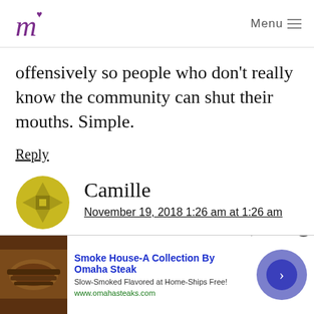m [logo] Menu
offensively so people who don't really know the community can shut their mouths. Simple.
Reply
Camille
November 19, 2018 1:26 am at 1:26 am
[Figure (other): Advertisement banner for Omaha Steak Smoke House collection with photo of smoked meat, blue title text, and circular arrow button]
Smoke House-A Collection By Omaha Steak
Slow-Smoked Flavored at Home-Ships Free!
www.omahasteaks.com